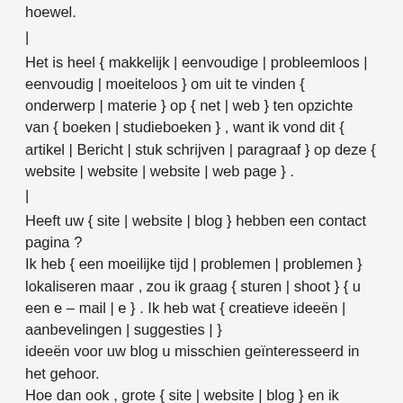hoewel.
|
Het is heel { makkelijk | eenvoudige | probleemloos | eenvoudig | moeiteloos } om uit te vinden { onderwerp | materie } op { net | web } ten opzichte van { boeken | studieboeken } , want ik vond dit { artikel | Bericht | stuk schrijven | paragraaf } op deze { website | website | website | web page } .
|
Heeft uw { site | website | blog } hebben een contact pagina ? Ik heb { een moeilijke tijd | problemen | problemen } lokaliseren maar , zou ik graag { sturen | shoot } { u een e – mail | e } . Ik heb wat { creatieve ideeën | aanbevelingen | suggesties | } ideeën voor uw blog u misschien geïnteresseerd in het gehoor. Hoe dan ook , grote { site | website | blog } en ik